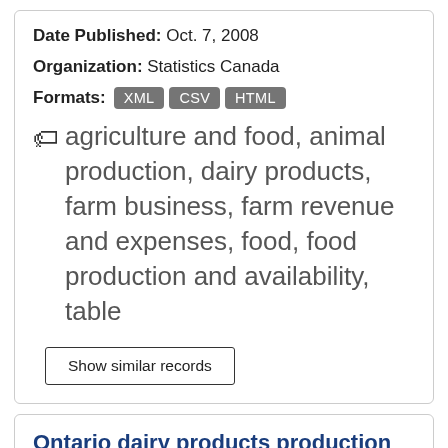Date Published: Oct. 7, 2008
Organization: Statistics Canada
Formats: XML CSV HTML
agriculture and food, animal production, dairy products, farm business, farm revenue and expenses, food, food production and availability, table
Show similar records
Ontario dairy products production
Provincial
Get statistical data on the production